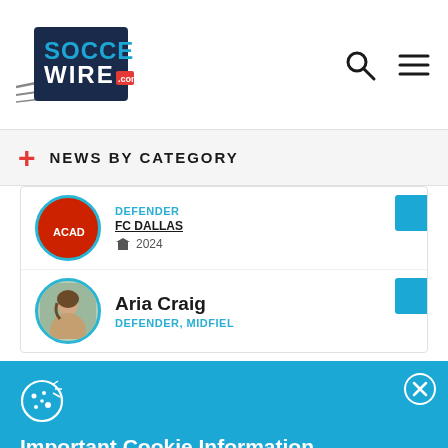SoccerWire.com
NEWS BY CATEGORY
DEFENDER
FC DALLAS
2024
Aria Craig
DEFENDER, MIDFIEL
Important Cookie Information
This site uses cookies to give you the best possible experience but do not collect personal information. By continuing to use the site you agree that we can save cookies on your device. Cookies are small text files placed on your device that remember your preferences and some details of your visit. For more information and details of how to disable cookies, please read our privacy policy.
ACCEPT